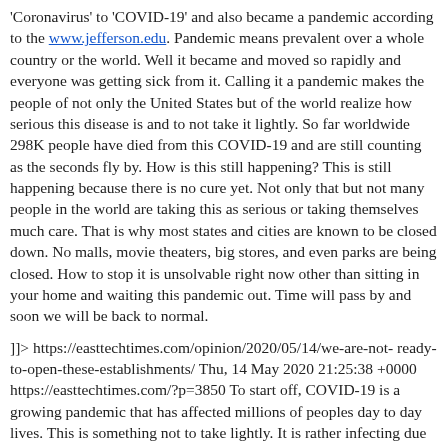'Coronavirus' to 'COVID-19' and also became a pandemic according to the www.jefferson.edu. Pandemic means prevalent over a whole country or the world. Well it became and moved so rapidly and everyone was getting sick from it. Calling it a pandemic makes the people of not only the United States but of the world realize how serious this disease is and to not take it lightly. So far worldwide 298K people have died from this COVID-19 and are still counting as the seconds fly by. How is this still happening? This is still happening because there is no cure yet. Not only that but not many people in the world are taking this as serious or taking themselves much care. That is why most states and cities are known to be closed down. No malls, movie theaters, big stores, and even parks are being closed. How to stop it is unsolvable right now other than sitting in your home and waiting this pandemic out. Time will pass by and soon we will be back to normal.
]]> https://easttechtimes.com/opinion/2020/05/14/we-are-not-ready-to-open-these-establishments/ Thu, 14 May 2020 21:25:38 +0000 https://easttechtimes.com/?p=3850 To start off, COVID-19 is a growing pandemic that has affected millions of peoples day to day lives. This is something not to take lightly. It is rather infecting due to how easily people can attain it. People all around the world are getting infected and more than 76,000 people have died from it according to cdc.gov and that is a growing number to this day. I believe we aren't ready to open up stores just yet, we should take some precautions and figure out how to attain this virus before we